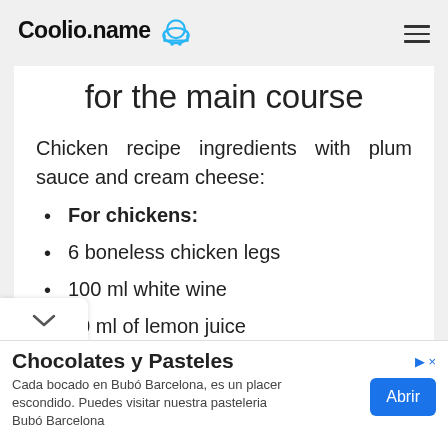Coolio.name [logo with chef hat]
for the main course
Chicken recipe ingredients with plum sauce and cream cheese:
For chickens:
6 boneless chicken legs
100 ml white wine
50 ml of lemon juice